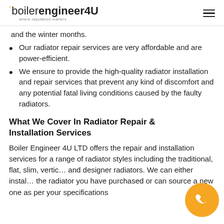boilerengineer4U — where reputation matters
and the winter months.
Our radiator repair services are very affordable and are power-efficient.
We ensure to provide the high-quality radiator installation and repair services that prevent any kind of discomfort and any potential fatal living conditions caused by the faulty radiators.
What We Cover In Radiator Repair & Installation Services
Boiler Engineer 4U LTD offers the repair and installation services for a range of radiator styles including the traditional, flat, slim, vertical and designer radiators. We can either install the radiator you have purchased or can source a new one as per your specifications